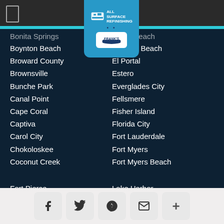[Figure (logo): Frank's All Surface Refinishing logo badge in blue with bathtub icon]
Boynton Beach
Broward County
Brownsville
Bunche Park
Canal Point
Cape Coral
Captiva
Carol City
Chokoloskee
Coconut Creek
Dania Beach (partially hidden)
Del Ray Beach
El Portal
Estero
Everglades City
Fellsmere
Fisher Island
Florida City
Fort Lauderdale
Fort Myers
Fort Myers Beach
Fort Pierce
Gold Coast
Golden Beach
Goodland
Goulds
Greenacres
Hallandale
Hialeah
Lake Harbor
Lake Worth
Lauderdale By The Sea
Lauderdale Lakes
Lauderhill
Leisure City
Hialeah (partial)